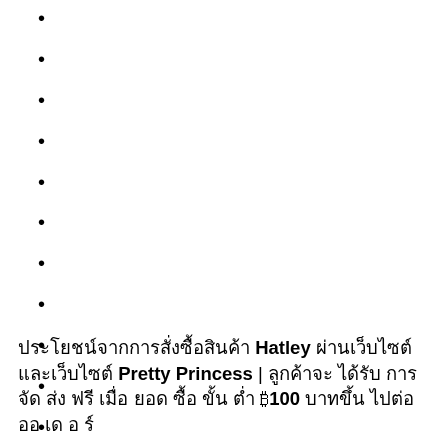ประโยชน์จากการสั่งซื้อสินค้า Hatley ผ่านเว็บไซต์ และเว็บไซต์ Pretty Princess | ลูกค้าจะ ได้รับ การ จัด ส่ง ฟรี เมื่อ ยอด ซื้อ ขั้น ต่ำ ₿100 บาทขึ้น ไปต่อ ออ เด อ ร์